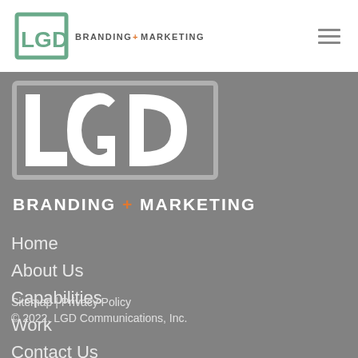LGD BRANDING + MARKETING (header navigation bar with logo and hamburger menu)
[Figure (logo): Large LGD logo in white on grey background with text BRANDING + MARKETING below]
Home
About Us
Capabilities
Work
Contact Us
Sitemap | Privacy Policy
© 2022, LGD Communications, Inc.